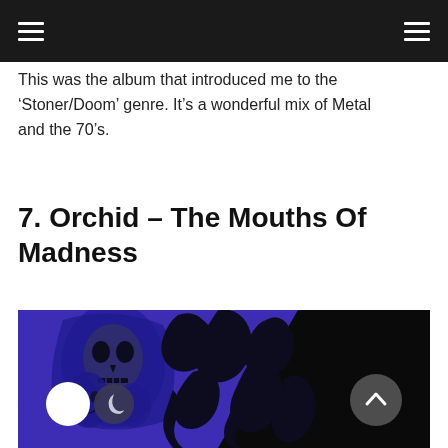This was the album that introduced me to the ‘Stoner/Doom’ genre. It’s a wonderful mix of Metal and the 70’s.
7. Orchid – The Mouths Of Madness
[Figure (photo): Album cover for Orchid - The Mouths of Madness. Purple and black illustration showing a hooded skull figure with distorted faces on the left, and flowing flame-like black shapes spelling 'Orchid' on a purple background. The right side transitions to solid black.]